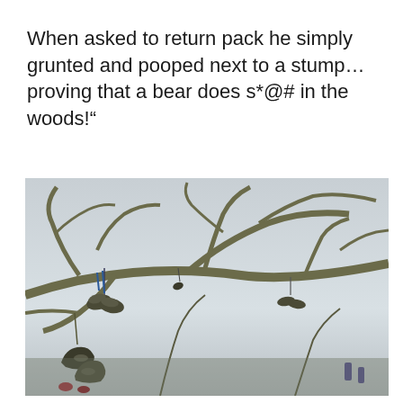When asked to return pack he simply grunted and pooped next to a stump… proving that a bear does s*@# in the woods!”
[Figure (photo): Photo of bare winter tree branches with multiple pairs of shoes hanging from them by their laces, against a pale grey overcast sky.]